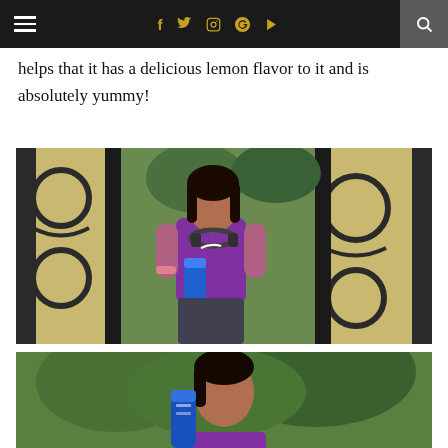Navigation bar with hamburger menu, social icons (f, Twitter, Instagram, Pinterest, YouTube), and search
helps that it has a delicious lemon flavor to it and is absolutely yummy!
[Figure (photo): Young woman in purple Nike athletic shirt with headphones around her neck, holding a blue water bottle, standing in front of ornate black iron gates with beige stone panels featuring circular designs, greenery in background]
[Figure (photo): Same young woman outdoors with a blue water bottle visible, green trees in background, cropped view showing head and shoulders]